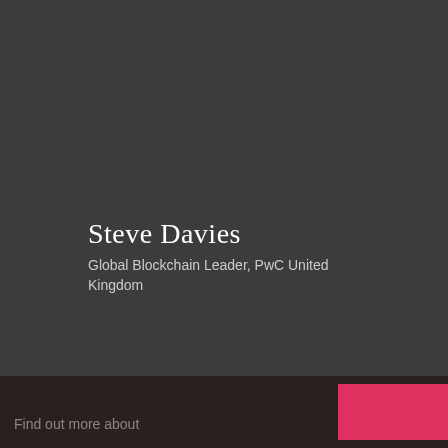Steve Davies
Global Blockchain Leader, PwC United Kingdom
Email
This site uses cookies to collect information about your browsing activities in order to provide you with more relevant content and promotional materials, and help us understand your interests and enhance the site. By continuing to browse this site you agree to the use of cookies. Visit our cookie policy to learn more.
Find out more about